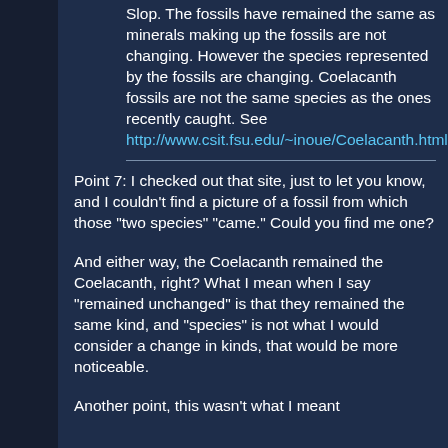Slop. The fossils have remained the same as minerals making up the fossils are not changing. However the species represented by the fossils are changing. Coelacanth fossils are not the same species as the ones recently caught. See http://www.csit.fsu.edu/~inoue/Coelacanth.html
Point 7: I checked out that site, just to let you know, and I couldn't find a picture of a fossil from which those "two species" "came." Could you find me one?
And either way, the Coelacanth remained the Coelacanth, right? What I mean when I say "remained unchanged" is that they remained the same kind, and "species" is not what I would consider a change in kinds, that would be more noticeable.
Another point, this wasn't what I meant